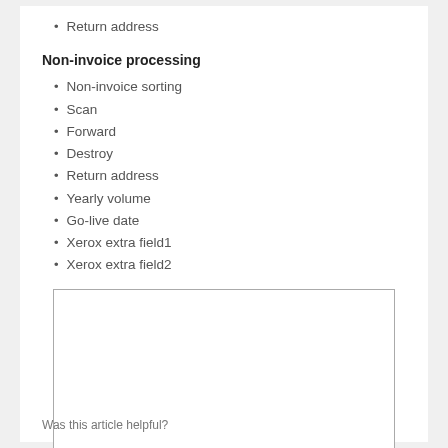Return address
Non-invoice processing
Non-invoice sorting
Scan
Forward
Destroy
Return address
Yearly volume
Go-live date
Xerox extra field1
Xerox extra field2
[Figure (other): Empty white rectangle with border, likely a placeholder image or screenshot area]
Was this article helpful?